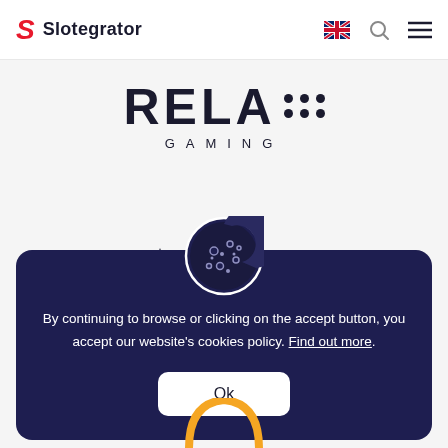Slotegrator
[Figure (logo): Relax Gaming logo - bold black text RELAX with dot grid pattern, GAMING in spaced letters below]
[Figure (illustration): Cookie consent popup with dark navy background, cookie icon at top, text about cookies policy, and Ok button]
By continuing to browse or clicking on the accept button, you accept our website's cookies policy. Find out more.
Ok